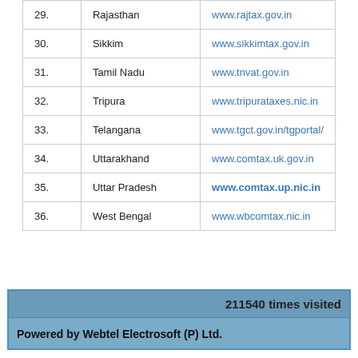| No. | State | Website |
| --- | --- | --- |
| 29. | Rajasthan | www.rajtax.gov.in |
| 30. | Sikkim | www.sikkimtax.gov.in |
| 31. | Tamil Nadu | www.tnvat.gov.in |
| 32. | Tripura | www.tripurataxes.nic.in |
| 33. | Telangana | www.tgct.gov.in/tgportal/ |
| 34. | Uttarakhand | www.comtax.uk.gov.in |
| 35. | Uttar Pradesh | www.comtax.up.nic.in |
| 36. | West Bengal | www.wbcomtax.nic.in |
211540 times visited
Powered by Webtel Electrosoft (P) Ltd.